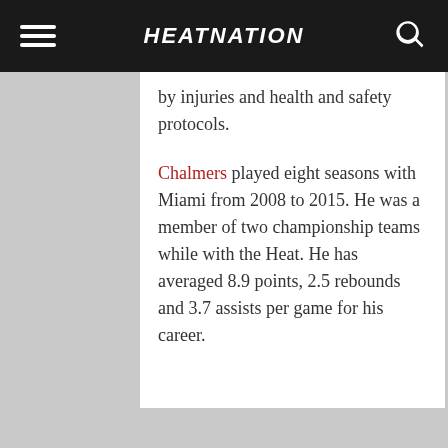HEATNATION
by injuries and health and safety protocols.
Chalmers played eight seasons with Miami from 2008 to 2015. He was a member of two championship teams while with the Heat. He has averaged 8.9 points, 2.5 rebounds and 3.7 assists per game for his career.